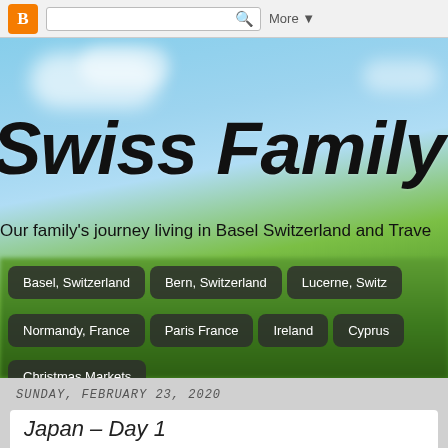[Figure (screenshot): Blogger top navigation bar with orange Blogger B logo, search box with magnifying glass icon, and More dropdown]
[Figure (photo): Blog header banner with blurred landscape background showing blue sky with clouds and green fields]
Swiss Family S
Our family's journey living in Basel Switzerland and Trave
Basel, Switzerland
Bern, Switzerland
Lucerne, Switz
Normandy, France
Paris France
Ireland
Cyprus
Christmas Markets
SUNDAY, FEBRUARY 23, 2020
Japan – Day 1